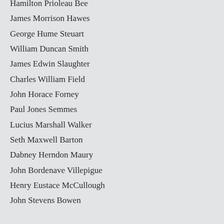Hamilton Prioleau Bee
James Morrison Hawes
George Hume Steuart
William Duncan Smith
James Edwin Slaughter
Charles William Field
John Horace Forney
Paul Jones Semmes
Lucius Marshall Walker
Seth Maxwell Barton
Dabney Herndon Maury
John Bordenave Villepigue
Henry Eustace McCullough
John Stevens Bowen